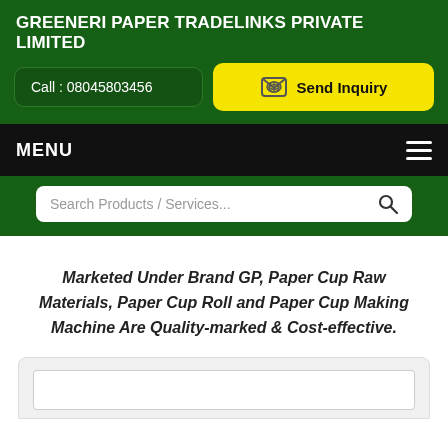GREENERI PAPER TRADELINKS PRIVATE LIMITED
Call : 08045803456
Send Inquiry
MENU
Search Products / Services...
Marketed Under Brand GP, Paper Cup Raw Materials, Paper Cup Roll and Paper Cup Making Machine Are Quality-marked & Cost-effective.